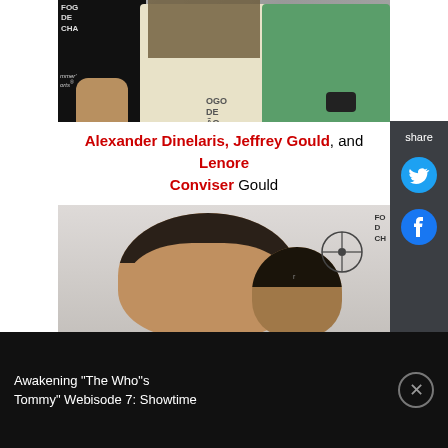[Figure (photo): Photo showing three people at an event — person in black on left, person in patterned shirt and white pants in center, person in green dress on right. Fogo de Chao event signage visible in background.]
Alexander Dinelaris, Jeffrey Gould, and Lenore Conviser Gould
[Figure (photo): Photo of two people at an event — a man with curly hair in foreground and another person partially visible behind him. Fogo de Chao event signage visible in background.]
share
Awakening "The Who"s Tommy" Webisode 7: Showtime